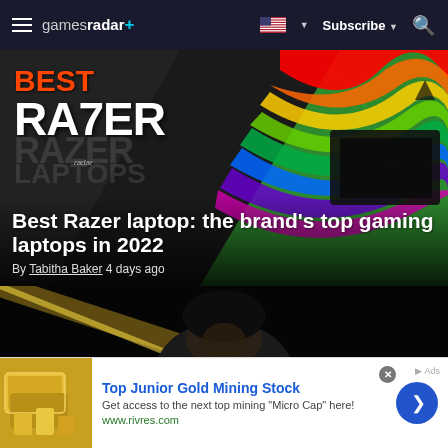gamesradar+ | Subscribe | Search
[Figure (photo): Best Razer laptops promotional banner with colorful rainbow wave design on green background with Razer logo. Large bold text reads BEST RAZER LAPTOPS.]
Best Razer laptop: the brand's top gaming laptops in 2022
By Tabitha Baker 4 days ago
[Figure (photo): Dark cinematic image of a character with glowing eyes looking menacingly, lit by a gold light streak from the upper left.]
Top Junior Gold Mining Stock
Get access to the next top mining "Micro Cap" here!
www.rivres.com